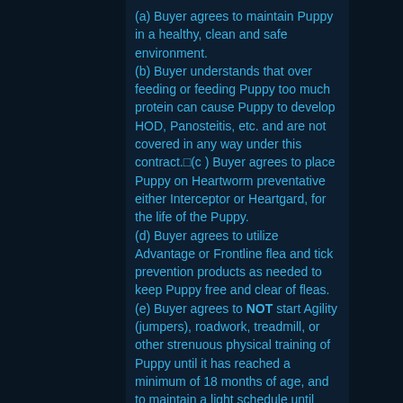(a) Buyer agrees to maintain Puppy in a healthy, clean and safe environment. (b) Buyer understands that over feeding or feeding Puppy too much protein can cause Puppy to develop HOD, Panosteitis, etc. and are not covered in any way under this contract. (c ) Buyer agrees to place Puppy on Heartworm preventative either Interceptor or Heartgard, for the life of the Puppy. (d) Buyer agrees to utilize Advantage or Frontline flea and tick prevention products as needed to keep Puppy free and clear of fleas. (e) Buyer agrees to NOT start Agility (jumpers), roadwork, treadmill, or other strenuous physical training of Puppy until it has reached a minimum of 18 months of age, and to maintain a light schedule until